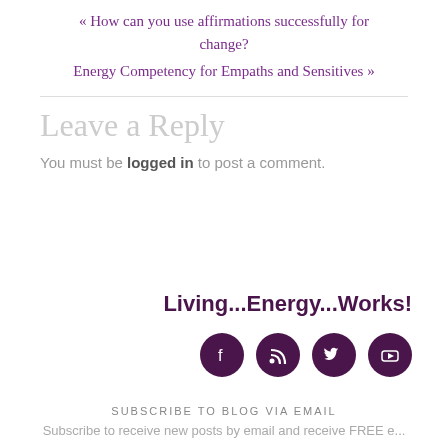« How can you use affirmations successfully for change?
Energy Competency for Empaths and Sensitives »
Leave a Reply
You must be logged in to post a comment.
Living...Energy...Works!
[Figure (infographic): Four dark purple circular social media icons: Facebook, RSS, Twitter, YouTube]
SUBSCRIBE TO BLOG VIA EMAIL
Subscribe to receive new posts by email and receive FREE e...